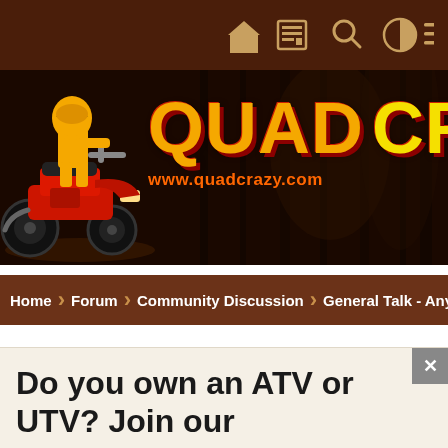Navigation bar with home, forum/news, search, user, and menu icons
[Figure (logo): Quad Crazy website banner with ATV rider on left, large orange 'QUAD' and yellow 'CRAZY' text, and www.quadcrazy.com URL in orange]
Home › Forum › Community Discussion › General Talk - Anything Goes
Do you own an ATV or UTV? Join our